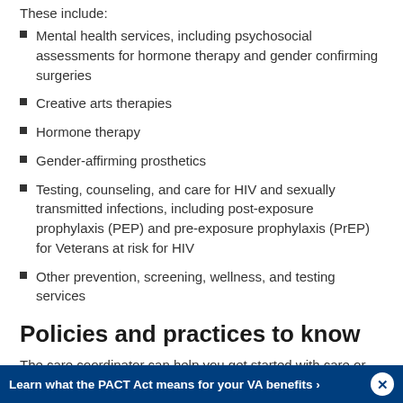These include:
Mental health services, including psychosocial assessments for hormone therapy and gender confirming surgeries
Creative arts therapies
Hormone therapy
Gender-affirming prosthetics
Testing, counseling, and care for HIV and sexually transmitted infections, including post-exposure prophylaxis (PEP) and pre-exposure prophylaxis (PrEP) for Veterans at risk for HIV
Other prevention, screening, wellness, and testing services
Policies and practices to know
The care coordinator can help you get started with care or with
Learn what the PACT Act means for your VA benefits >